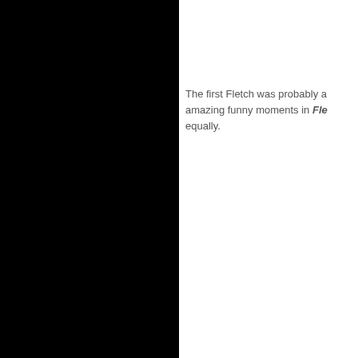[Figure (photo): Large black rectangular panel occupying the left half of the page]
The first Fletch was probably a amazing funny moments in Fle equally.